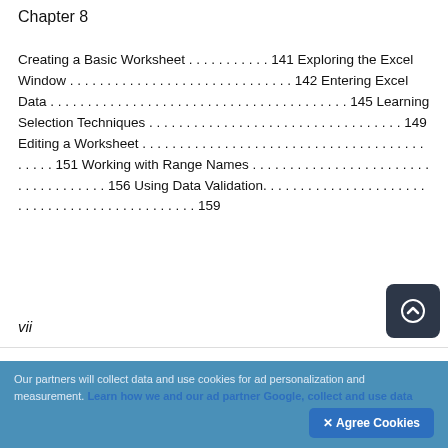Chapter 8
Creating a Basic Worksheet . . . . . . . . . . . 141 Exploring the Excel Window . . . . . . . . . . . . . . . . . . . . . . . . . . . . . . 142 Entering Excel Data . . . . . . . . . . . . . . . . . . . . . . . . . . . . . . . . . . . . . . . . 145 Learning Selection Techniques . . . . . . . . . . . . . . . . . . . . . . . . . . . . . . . . . . 149 Editing a Worksheet . . . . . . . . . . . . . . . . . . . . . . . . . . . . . . . . . . . . . . . . . . . 151 Working with Range Names . . . . . . . . . . . . . . . . . . . . . . . . . . . . . . . . . . . . 156 Using Data Validation. . . . . . . . . . . . . . . . . . . . . . . . . . . . . . . . . . . . . . . . . . 159
vii
viii
Our partners will collect data and use cookies for ad personalization and measurement. Learn how we and our ad partner Google, collect and use data
✕ Agree Cookies